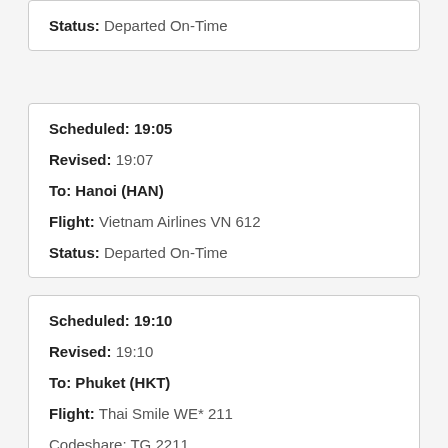Status: Departed On-Time
Scheduled: 19:05
Revised: 19:07
To: Hanoi (HAN)
Flight: Vietnam Airlines VN 612
Status: Departed On-Time
Scheduled: 19:10
Revised: 19:10
To: Phuket (HKT)
Flight: Thai Smile WE* 211
Codeshare: TG 2211
Status: Departed On-Time